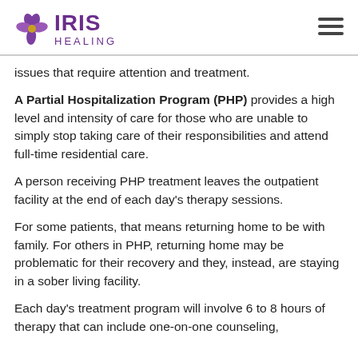IRIS HEALING
issues that require attention and treatment.
A Partial Hospitalization Program (PHP) provides a high level and intensity of care for those who are unable to simply stop taking care of their responsibilities and attend full-time residential care.
A person receiving PHP treatment leaves the outpatient facility at the end of each day's therapy sessions.
For some patients, that means returning home to be with family. For others in PHP, returning home may be problematic for their recovery and they, instead, are staying in a sober living facility.
Each day's treatment program will involve 6 to 8 hours of therapy that can include one-on-one counseling,